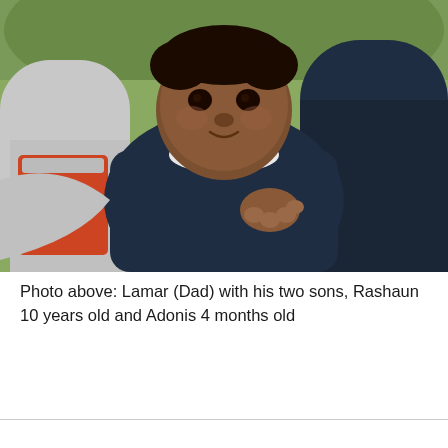[Figure (photo): A father (Lamar) holding a baby (Adonis, 4 months old) while an older boy (Rashaun, 10 years old) stands behind them outdoors. The baby is wearing a navy jacket with white collar. The father on the left is wearing a grey shirt with red graphic. The older boy on the right is wearing a dark navy jacket.]
Photo above: Lamar (Dad) with his two sons, Rashaun 10 years old and Adonis 4 months old